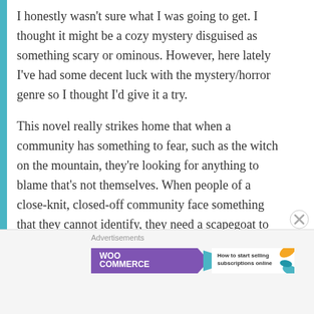I honestly wasn't sure what I was going to get. I thought it might be a cozy mystery disguised as something scary or ominous. However, here lately I've had some decent luck with the mystery/horror genre so I thought I'd give it a try.
This novel really strikes home that when a community has something to fear, such as the witch on the mountain, they're looking for anything to blame that's not themselves. When people of a close-knit, closed-off community face something that they cannot identify, they need a scapegoat to place the blame.
When the girls of Crow Hollow fall ill, it reminded me of
[Figure (other): WooCommerce advertisement banner: purple background with WooCommerce logo and teal arrow, with text 'How to start selling subscriptions online' and colorful leaf decorations on the right]